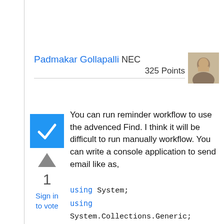[Figure (photo): Profile photo of Padmakar Gollapalli]
Padmakar Gollapalli NEC
325 Points
[Figure (other): Blue checkbox/checkmark icon indicating accepted answer]
[Figure (other): Upvote arrow icon]
1
Sign in
to vote
You can run reminder workflow to use the advenced Find. I think it will be difficult to run manually workflow. You can write a console application to send email like as,
using System;
using System.Collections.Generic;
using System.Text;
using System.Data;